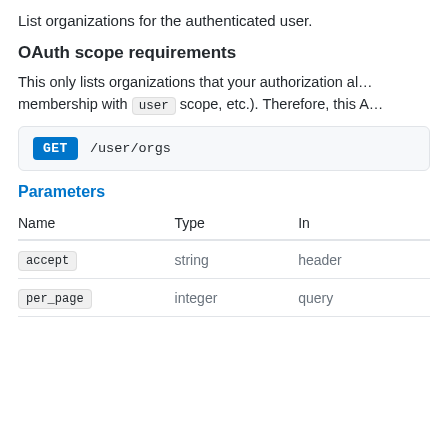List organizations for the authenticated user.
OAuth scope requirements
This only lists organizations that your authorization al… membership with user scope, etc.). Therefore, this A…
GET /user/orgs
Parameters
| Name | Type | In |
| --- | --- | --- |
| accept | string | header |
| per_page | integer | query |